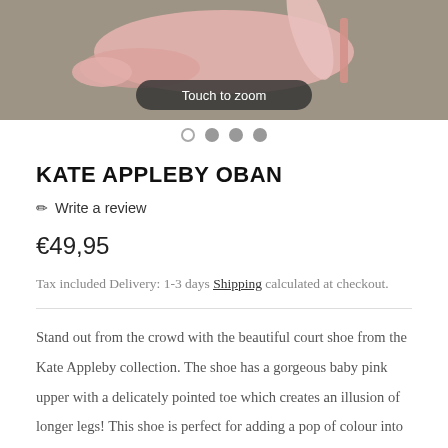[Figure (photo): Product photo of Kate Appleby Oban pink court shoe with Touch to zoom overlay badge]
Touch to zoom
[Figure (other): Image carousel navigation dots: 4 dots, first empty/outline, remaining three filled grey]
KATE APPLEBY OBAN
✏ Write a review
€49,95
Tax included Delivery: 1-3 days Shipping calculated at checkout.
Stand out from the crowd with the beautiful court shoe from the Kate Appleby collection. The shoe has a gorgeous baby pink upper with a delicately pointed toe which creates an illusion of longer legs! This shoe is perfect for adding a pop of colour into